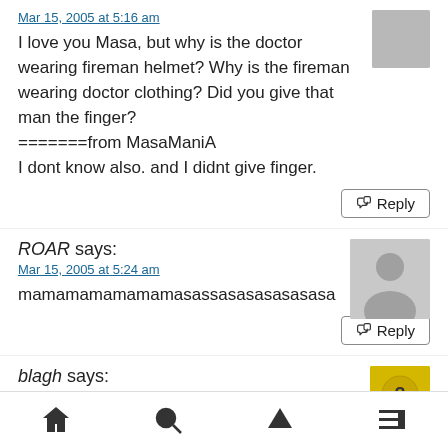Mar 15, 2005 at 5:16 am
I love you Masa, but why is the doctor wearing fireman helmet? Why is the fireman wearing doctor clothing? Did you give that man the finger? =======from MasaManiA
I dont know also. and I didnt give finger.
Reply
ROAR says:
Mar 15, 2005 at 5:24 am
mamamamamamamasassasasasasasasa
Reply
blagh says: